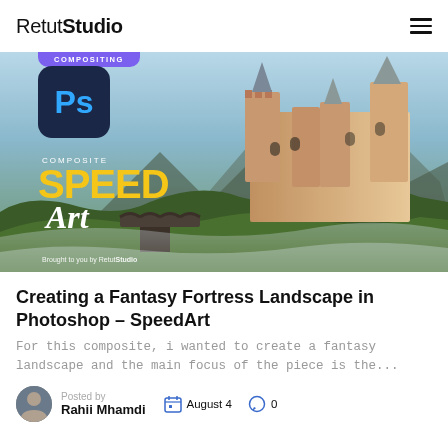RetutStudio
[Figure (screenshot): Fantasy fortress landscape composite image in Photoshop SpeedArt tutorial thumbnail with Ps logo, castle on misty green cliff, yellow SPEED ART text overlay, compositing badge, brought to you by RetutStudio text]
Creating a Fantasy Fortress Landscape in Photoshop – SpeedArt
For this composite, i wanted to create a fantasy landscape and the main focus of the piece is the...
Posted by
Rahii Mhamdi
August 4
0